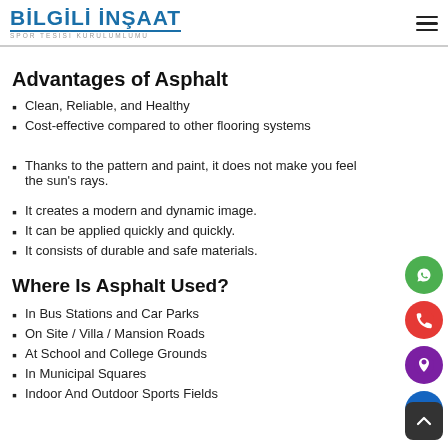BİLGİLİ İNŞAAT SPOR TESİSİ KURULUMLUMU
Advantages of Asphalt
Clean, Reliable, and Healthy
Cost-effective compared to other flooring systems
Thanks to the pattern and paint, it does not make you feel the sun's rays.
It creates a modern and dynamic image.
It can be applied quickly and quickly.
It consists of durable and safe materials.
Where Is Asphalt Used?
In Bus Stations and Car Parks
On Site / Villa / Mansion Roads
At School and College Grounds
In Municipal Squares
Indoor And Outdoor Sports Fields